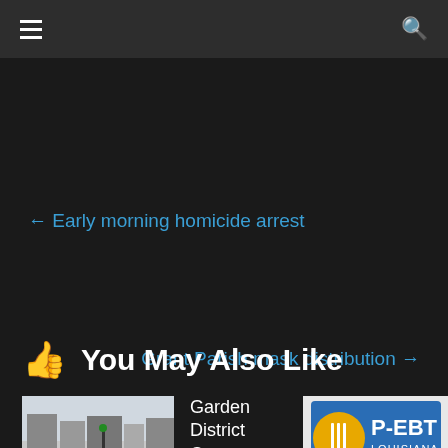Navigation bar with hamburger menu and search icon
← Early morning homicide arrest
Grant Parish mask distribution →
👍 You May Also Like
[Figure (photo): Snowy street scene with cars and buildings]
Garden District Contest
[Figure (logo): P-EBT Louisiana logo — gold circle with fork and spoon icon, blue P-EBT text, Louisiana below]